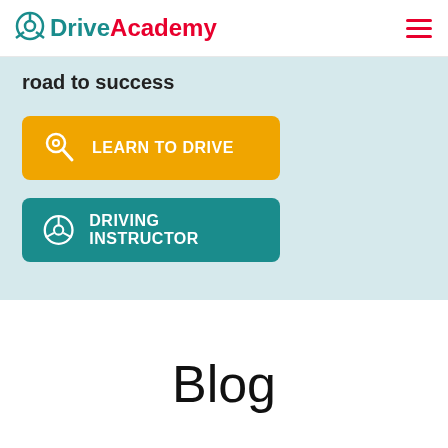Drive Academy
road to success
LEARN TO DRIVE
DRIVING INSTRUCTOR
Blog